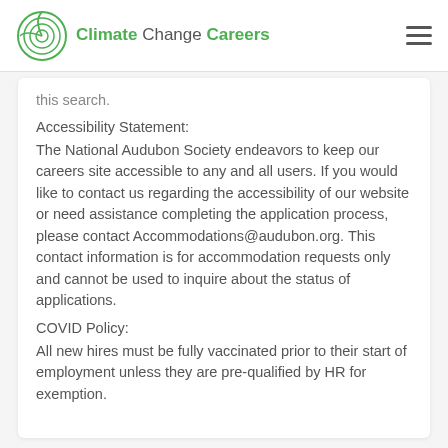Climate Change Careers
this search.
Accessibility Statement:
The National Audubon Society endeavors to keep our careers site accessible to any and all users. If you would like to contact us regarding the accessibility of our website or need assistance completing the application process, please contact Accommodations@audubon.org. This contact information is for accommodation requests only and cannot be used to inquire about the status of applications.
COVID Policy:
All new hires must be fully vaccinated prior to their start of employment unless they are pre-qualified by HR for exemption.